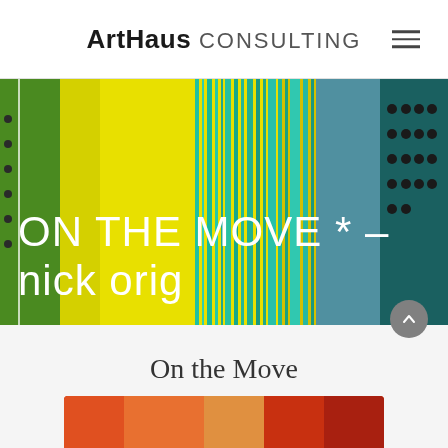ArtHaus CONSULTING
[Figure (photo): Abstract colorful painting with yellow, green, teal/blue vertical streaks and black dots, serving as hero banner background with text overlay 'ON THE MOVE * – nick orig' in white]
On the Move
New Painting by Jhina Alvarado
January 12 – March 30, 2017
[Figure (photo): Bottom preview strip showing a colorful abstract painting with warm red/orange tones]